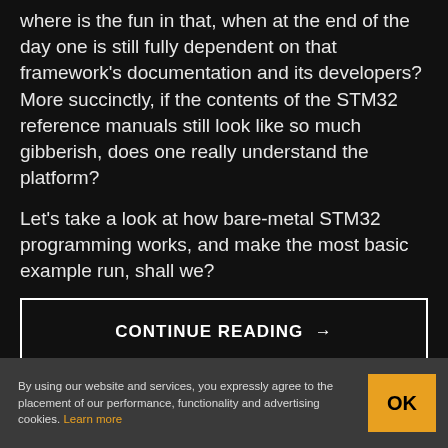where is the fun in that, when at the end of the day one is still fully dependent on that framework's documentation and its developers? More succinctly, if the contents of the STM32 reference manuals still look like so much gibberish, does one really understand the platform?
Let's take a look at how bare-metal STM32 programming works, and make the most basic example run, shall we?
CONTINUE READING →
By using our website and services, you expressly agree to the placement of our performance, functionality and advertising cookies. Learn more